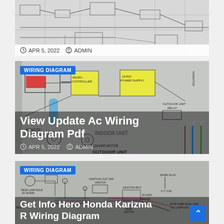[Figure (schematic): Partial top card showing wiring diagram schematic background with clock icon, date APR 5, 2022, and admin user label]
APR 5, 2022   ADMIN
[Figure (schematic): AC wiring diagram schematic showing RECEIVER/DISPLAY, MICRO CONTROLLER, 12VDC POWER SUPPLY, VARISTOR, OUTDOOR UNIT RELAY, REMOTE CONTROLLER, INDOOR UNIT, SWING/LOUVER MOTOR sections with colored wiring lines]
WIRING DIAGRAM
View Update Ac Wiring Diagram Pdf
APR 5, 2022   ADMIN
[Figure (schematic): Hero Honda Karizma R wiring diagram showing ignition cut off switch, junction box, spark plug, stop lamp, tail lamp, indicator and other electrical components]
WIRING DIAGRAM
Get Info Hero Honda Karizma R Wiring Diagram